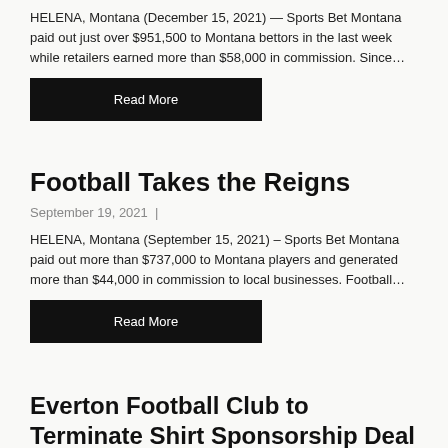HELENA, Montana (December 15, 2021) — Sports Bet Montana paid out just over $951,500 to Montana bettors in the last week while retailers earned more than $58,000 in commission. Since…
Read More
Football Takes the Reigns
September 19, 2021 |
HELENA, Montana (September 15, 2021) – Sports Bet Montana paid out more than $737,000 to Montana players and generated more than $44,000 in commission to local businesses. Football…
Read More
Everton Football Club to Terminate Shirt Sponsorship Deal with Betting Firm at End of Season